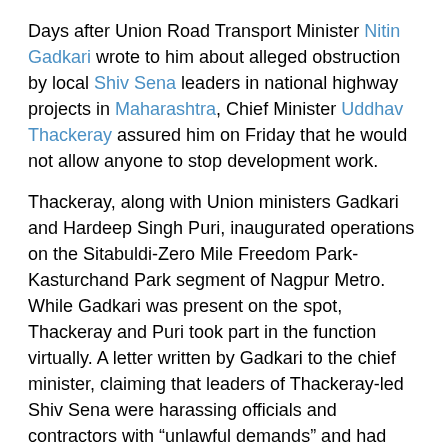Days after Union Road Transport Minister Nitin Gadkari wrote to him about alleged obstruction by local Shiv Sena leaders in national highway projects in Maharashtra, Chief Minister Uddhav Thackeray assured him on Friday that he would not allow anyone to stop development work.
Thackeray, along with Union ministers Gadkari and Hardeep Singh Puri, inaugurated operations on the Sitabuldi-Zero Mile Freedom Park-Kasturchand Park segment of Nagpur Metro. While Gadkari was present on the spot, Thackeray and Puri took part in the function virtually. A letter written by Gadkari to the chief minister, claiming that leaders of Thackeray-led Shiv Sena were harassing officials and contractors with “unlawful demands” and had stopped some national highway projects in the state, especially in Washim, had gone viral a few days ago.
In an apparent reference to Gadkari's missive, Thackeray